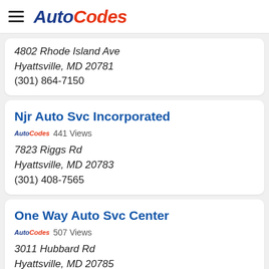AutoCodes
4802 Rhode Island Ave
Hyattsville, MD 20781
(301) 864-7150
Njr Auto Svc Incorporated
AutoCodes 441 Views
7823 Riggs Rd
Hyattsville, MD 20783
(301) 408-7565
One Way Auto Svc Center
AutoCodes 507 Views
3011 Hubbard Rd
Hyattsville, MD 20785
(301) 322-5673
P & H Auto Electric
AutoCodes 478 Views